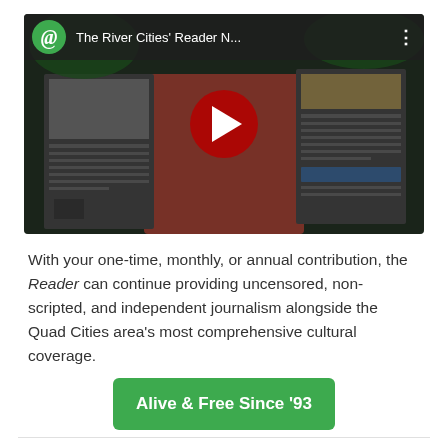[Figure (screenshot): YouTube-style video thumbnail showing 'The River Cities' Reader N...' with a green @ logo icon, dark header bar, video play button (red circle with white triangle), and a darkened background image of a person holding newspapers/magazines with text columns visible.]
With your one-time, monthly, or annual contribution, the Reader can continue providing uncensored, non-scripted, and independent journalism alongside the Quad Cities area's most comprehensive cultural coverage.
Alive & Free Since '93